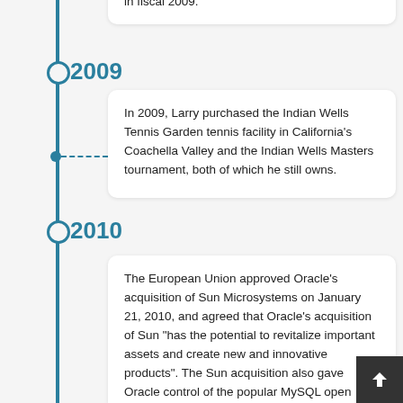in fiscal 2009.
2009
In 2009, Larry purchased the Indian Wells Tennis Garden tennis facility in California's Coachella Valley and the Indian Wells Masters tournament, both of which he still owns.
2010
The European Union approved Oracle's acquisition of Sun Microsystems on January 21, 2010, and agreed that Oracle's acquisition of Sun "has the potential to revitalize important assets and create new and innovative products". The Sun acquisition also gave Oracle control of the popular MySQL open source database, which Sun had acquired in 2008. On August 9, 2010, Ellison denounced Hewlett-Packard's board for firing CEO Mark Hurd, writing that "the HP board just made th